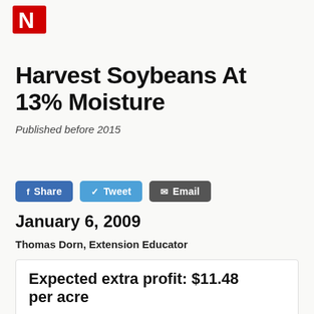N (University of Nebraska logo)
Harvest Soybeans At 13% Moisture
Published before 2015
Share  Tweet  Email
January 6, 2009
Thomas Dorn, Extension Educator
Expected extra profit: $11.48 per acre

Assuming soybeans are sold at 13% moisture